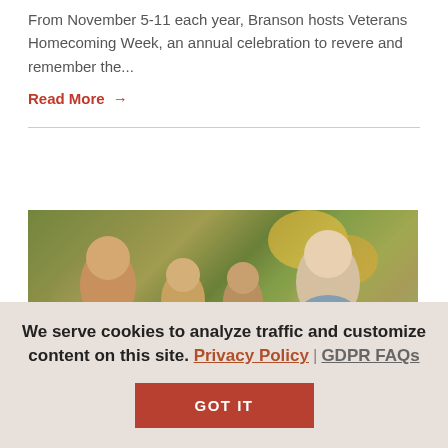From November 5-11 each year, Branson hosts Veterans Homecoming Week, an annual celebration to revere and remember the...
Read More →
[Figure (photo): Family photo outdoors in autumn setting with trees and foliage in background]
We serve cookies to analyze traffic and customize content on this site. Privacy Policy | GDPR FAQs
GOT IT